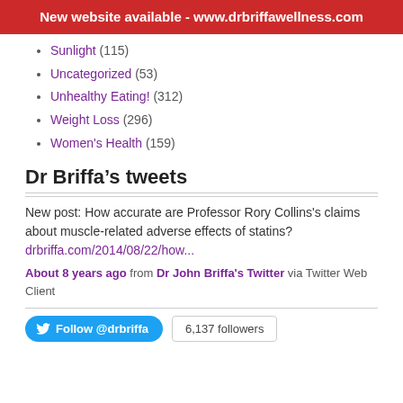New website available - www.drbriffawellness.com
Sunlight (115)
Uncategorized (53)
Unhealthy Eating! (312)
Weight Loss (296)
Women's Health (159)
Dr Briffa's tweets
New post: How accurate are Professor Rory Collins's claims about muscle-related adverse effects of statins? drbriffa.com/2014/08/22/how...
About 8 years ago from Dr John Briffa's Twitter via Twitter Web Client
Follow @drbriffa   6,137 followers